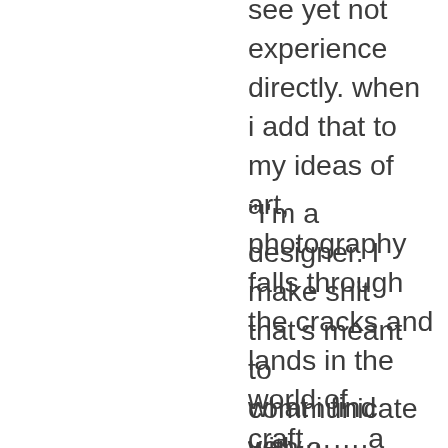see yet not experience directly. when i add that to my ideas of art, photography falls through the cracks and lands in the world of craft…….a place i believe in whole heartedly.
“I’m a designer. I make shit that’s meant to communicate with a particular audience based on what my client wants……but I’m no artist and what I create is far from art. It’s communication.”
what i find very interesting about your statement is that many of the old paintings (Art with the